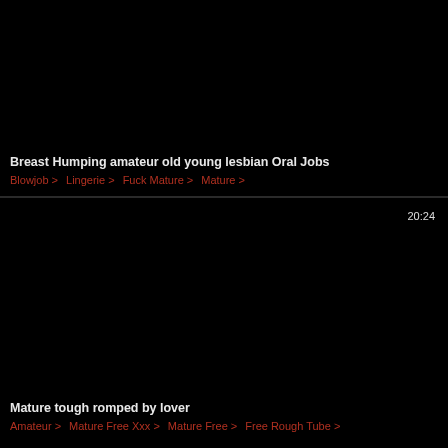[Figure (screenshot): Black thumbnail for first video card]
Breast Humping amateur old young lesbian Oral Jobs
Blowjob > Lingerie > Fuck Mature > Mature >
[Figure (screenshot): Black thumbnail for second video card with duration 20:24]
Mature tough romped by lover
Amateur > Mature Free Xxx > Mature Free > Free Rough Tube >